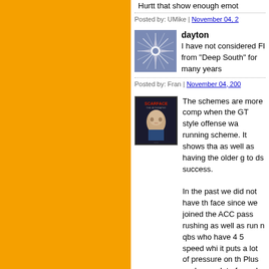Hurtt that show enough emot
Posted by: UMike | November 04, 2...
[Figure (photo): Avatar image with geometric snowflake pattern on blue/grey background]
dayton
I have not considered FI from "Deep South" for many years
Posted by: Fran | November 04, 200...
[Figure (photo): Scarface book/DVD cover with man's face]
The schemes are more comp when the GT style offense wa running scheme. It shows tha as well as having the older g to ds success.

In the past we did not have th face since we joined the ACC pass rushing as well as run n qbs who have 4 5 speed whi it puts a lot of pressure on th Plus we have a lot of coache much more advanced in their